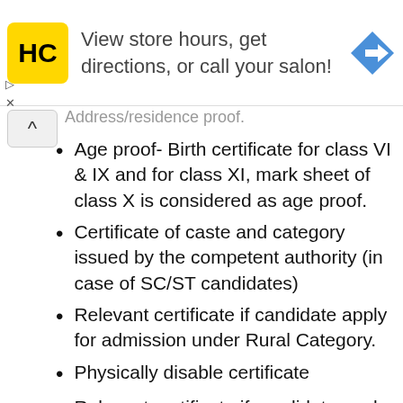[Figure (advertisement): HC salon advertisement banner with yellow HC logo, text 'View store hours, get directions, or call your salon!' and a blue navigation arrow icon]
Address/residence proof.
Age proof- Birth certificate for class VI & IX and for class XI, mark sheet of class X is considered as age proof.
Certificate of caste and category issued by the competent authority (in case of SC/ST candidates)
Relevant certificate if candidate apply for admission under Rural Category.
Physically disable certificate
Relevant certificate if candidate apply under transgender category.
Other documents (if applicable)